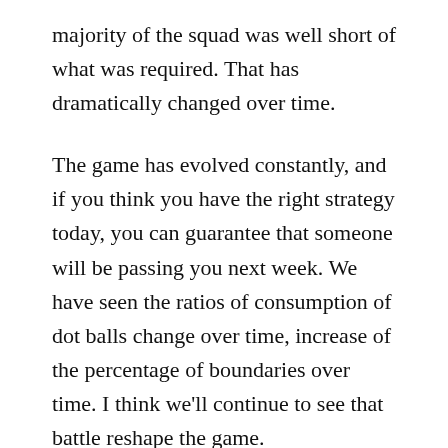majority of the squad was well short of what was required. That has dramatically changed over time.
The game has evolved constantly, and if you think you have the right strategy today, you can guarantee that someone will be passing you next week. We have seen the ratios of consumption of dot balls change over time, increase of the percentage of boundaries over time. I think we'll continue to see that battle reshape the game.
Would you say there now are skills that specifically relate only to T20?